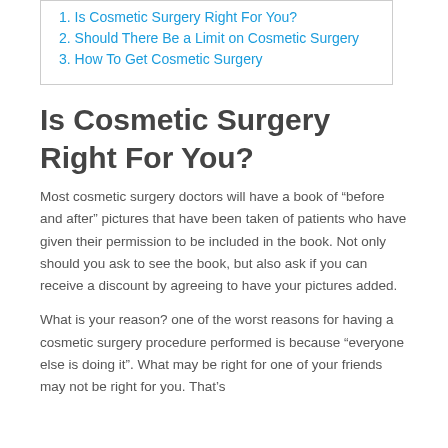1. Is Cosmetic Surgery Right For You?
2. Should There Be a Limit on Cosmetic Surgery
3. How To Get Cosmetic Surgery
Is Cosmetic Surgery Right For You?
Most cosmetic surgery doctors will have a book of “before and after” pictures that have been taken of patients who have given their permission to be included in the book. Not only should you ask to see the book, but also ask if you can receive a discount by agreeing to have your pictures added.
What is your reason? one of the worst reasons for having a cosmetic surgery procedure performed is because “everyone else is doing it”. What may be right for one of your friends may not be right for you. That’s